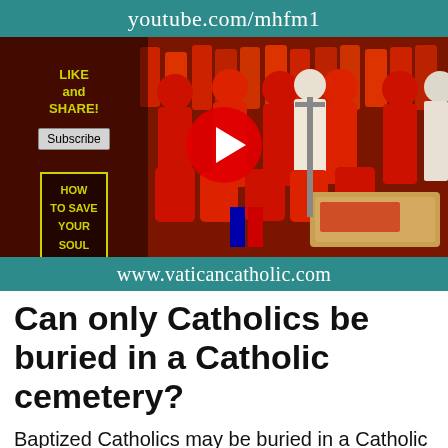[Figure (screenshot): YouTube video thumbnail showing Catholic funeral ceremony with clergy in red robes around a casket. Video player interface with youtube.com/mhfm1 at top, www.vaticancatholic.com at bottom, play button in center, and overlay buttons for LIKE and SHARE, Subscribe, and HOW TO SAVE YOUR SOUL on the left.]
Can only Catholics be buried in a Catholic cemetery?
Baptized Catholics may be buried in a Catholic cemetery. Likewise, non-Catholic spouses and other family members of Catholics may be buried in a Catholic Cemetery. A member of the clergy of the Church of the one being buried can certainly